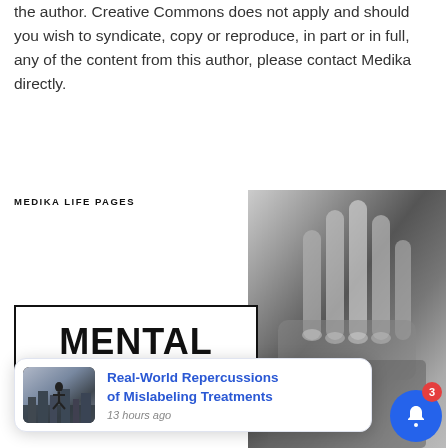the author. Creative Commons does not apply and should you wish to syndicate, copy or reproduce, in part or in full, any of the content from this author, please contact Medika directly.
MEDIKA LIFE PAGES
[Figure (photo): Black and white close-up photograph of a pair of hands clasped together or pressed against a face, showing fingers and knuckles in high contrast.]
[Figure (photo): Card with the word MENTAL in large bold black text on white background with black border, partially visible.]
[Figure (screenshot): Notification popup card with a small thumbnail image of a person on a rooftop cityscape, blue title text reading 'Real-World Repercussions of Mislabeling Treatments', and timestamp '13 hours ago'.]